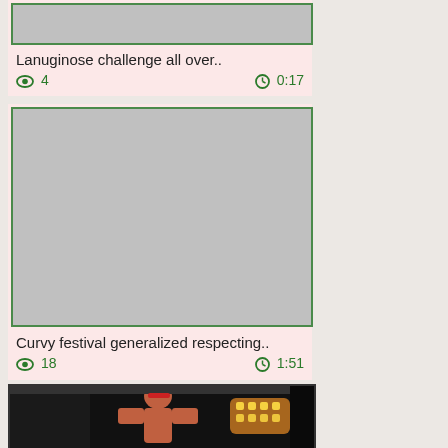[Figure (screenshot): Partial video thumbnail placeholder (gray rectangle with green border) at top]
Lanuginose challenge all over..
👁 4   🕐 0:17
[Figure (screenshot): Large gray video thumbnail placeholder with green border]
Curvy festival generalized respecting..
👁 18   🕐 1:51
[Figure (photo): Partial video thumbnail showing a person in a dark room with warm lights in the background]